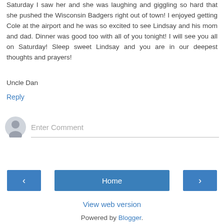Saturday I saw her and she was laughing and giggling so hard that she pushed the Wisconsin Badgers right out of town! I enjoyed getting Cole at the airport and he was so excited to see Lindsay and his mom and dad. Dinner was good too with all of you tonight! I will see you all on Saturday! Sleep sweet Lindsay and you are in our deepest thoughts and prayers!
Uncle Dan
Reply
Enter Comment
Home
View web version
Powered by Blogger.